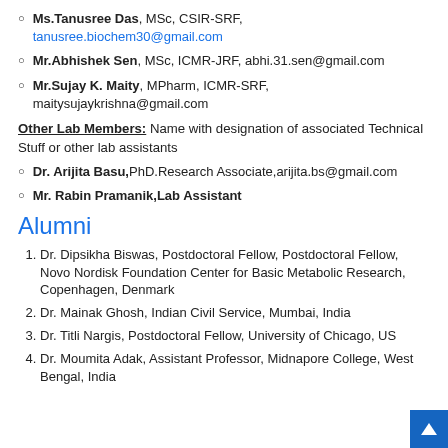Ms.Tanusree Das, MSc, CSIR-SRF, tanusree.biochem30@gmail.com
Mr.Abhishek Sen, MSc, ICMR-JRF, abhi.31.sen@gmail.com
Mr.Sujay K. Maity, MPharm, ICMR-SRF, maitysujaykrishna@gmail.com
Other Lab Members: Name with designation of associated Technical Stuff or other lab assistants
Dr. Arijita Basu,PhD.Research Associate,arijita.bs@gmail.com
Mr. Rabin Pramanik,Lab Assistant
Alumni
Dr. Dipsikha Biswas, Postdoctoral Fellow, Postdoctoral Fellow, Novo Nordisk Foundation Center for Basic Metabolic Research, Copenhagen, Denmark
Dr. Mainak Ghosh, Indian Civil Service, Mumbai, India
Dr. Titli Nargis, Postdoctoral Fellow, University of Chicago, US
Dr. Moumita Adak, Assistant Professor, Midnapore College, West Bengal, India